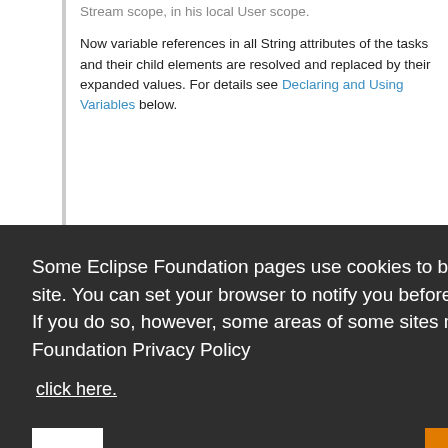Stream scope, in his local User scope.
Now variable references in all String attributes of the tasks and their child elements are resolved and replaced by their expanded values. For details see Declaring and Using Variables below.
Some Eclipse Foundation pages use cookies to better serve you when you return to the site. You can set your browser to notify you before you receive a cookie or turn off cookies. If you do so, however, some areas of some sites may not function properly. To read Eclipse Foundation Privacy Policy click here.
Decline
Allow cookies
always be declared with a Variable Task somewhere